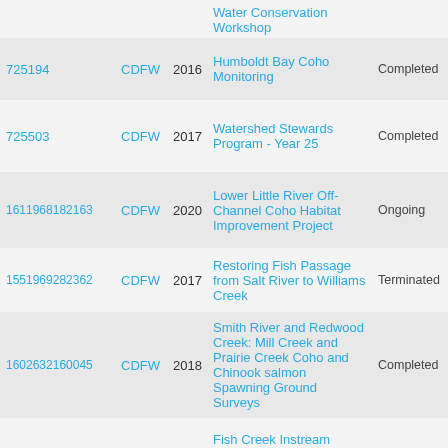| ID | Agency | Year | Project Name | Status | More |
| --- | --- | --- | --- | --- | --- |
|  |  |  | Water Conservation Workshop |  |  |
| 725194 | CDFW | 2016 | Humboldt Bay Coho Monitoring | Completed |  |
| 725503 | CDFW | 2017 | Watershed Stewards Program - Year 25 | Completed |  |
| 1611968182163 | CDFW | 2020 | Lower Little River Off-Channel Coho Habitat Improvement Project | Ongoing |  |
| 1551969282362 | CDFW | 2017 | Restoring Fish Passage from Salt River to Williams Creek | Terminated |  |
| 1602632160045 | CDFW | 2018 | Smith River and Redwood Creek: Mill Creek and Prairie Creek Coho and Chinook salmon Spawning Ground Surveys | Completed |  |
| 725504 | CDFW | 2017 | Fish Creek Instream Habitat Enhancement Project | Completed |  |